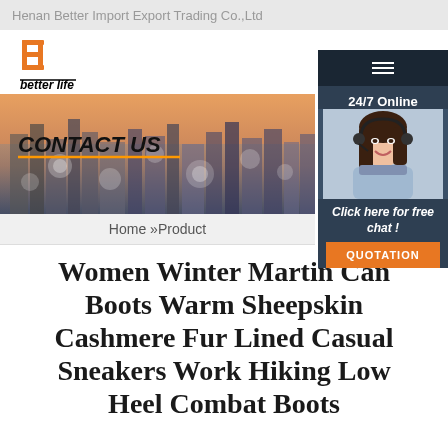Henan Better Import Export Trading Co.,Ltd
[Figure (logo): Better Life company logo: stylized orange B letter mark above 'better life' text in black with underline]
[Figure (photo): Banner image of city skyline at dusk with CONTACT US text overlay and light bokeh effects]
[Figure (photo): 24/7 Online chat widget sidebar with smiling woman wearing headset, Click here for free chat button, and orange QUOTATION button]
Home »Product
Women Winter Martin Can Boots Warm Sheepskin Cashmere Fur Lined Casual Sneakers Work Hiking Low Heel Combat Boots